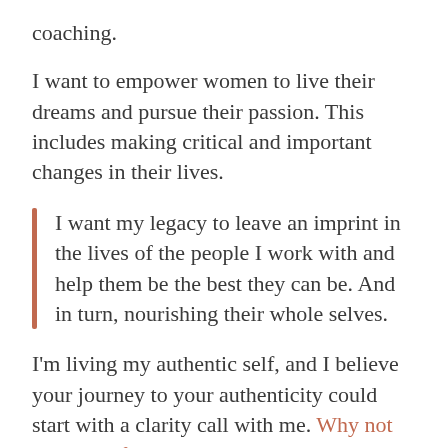coaching.
I want to empower women to live their dreams and pursue their passion. This includes making critical and important changes in their lives.
I want my legacy to leave an imprint in the lives of the people I work with and help them be the best they can be. And in turn, nourishing their whole selves.
I'm living my authentic self, and I believe your journey to your authenticity could start with a clarity call with me. Why not take your first steps with me?